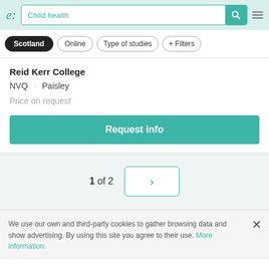e: Child health [search bar with teal search button and menu icon]
Scotland
Online
Type of studies
+ Filters
Reid Kerr College
NVQ · Paisley
Price on request
Request info
1 of 2
We use our own and third-party cookies to gather browsing data and show advertising. By using this site you agree to their use. More information.